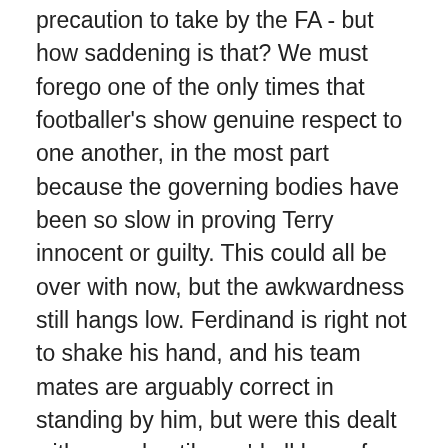precaution to take by the FA - but how saddening is that? We must forego one of the only times that footballer's show genuine respect to one another, in the most part because the governing bodies have been so slow in proving Terry innocent or guilty. This could all be over with now, but the awkwardness still hangs low. Ferdinand is right not to shake his hand, and his team mates are arguably correct in standing by him, but were this dealt with more hastily, we'd all know for sure where we stand.
All the while, our Argentinian friend, on an extended holiday in his homeland, mulls over plausible retirement. On what reasonable grounds? Does he feel sickeningly hard done by, and unjustifiably treated? Has he become bored of not being paid, for not playing football? Or would it just be a publicity stunt? Knowing